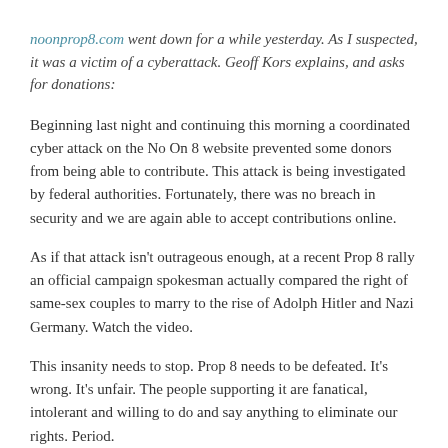noonprop8.com went down for a while yesterday. As I suspected, it was a victim of a cyberattack. Geoff Kors explains, and asks for donations:
Beginning last night and continuing this morning a coordinated cyber attack on the No On 8 website prevented some donors from being able to contribute. This attack is being investigated by federal authorities. Fortunately, there was no breach in security and we are again able to accept contributions online.
As if that attack isn't outrageous enough, at a recent Prop 8 rally an official campaign spokesman actually compared the right of same-sex couples to marry to the rise of Adolph Hitler and Nazi Germany. Watch the video.
This insanity needs to stop. Prop 8 needs to be defeated. It's wrong. It's unfair. The people supporting it are fanatical, intolerant and willing to do and say anything to eliminate our rights. Period.
We cannot let them succeed.